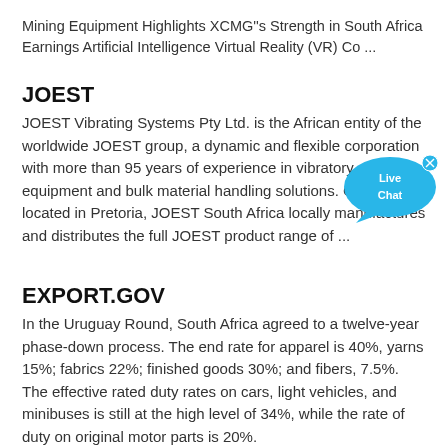Mining Equipment Highlights XCMG"s Strength in South Africa Earnings Artificial Intelligence Virtual Reality (VR) Co ...
JOEST
JOEST Vibrating Systems Pty Ltd. is the African entity of the worldwide JOEST group, a dynamic and flexible corporation with more than 95 years of experience in vibratory equipment and bulk material handling solutions. Centrally located in Pretoria, JOEST South Africa locally manufactures and distributes the full JOEST product range of ...
EXPORT.GOV
In the Uruguay Round, South Africa agreed to a twelve-year phase-down process. The end rate for apparel is 40%, yarns 15%; fabrics 22%; finished goods 30%; and fibers, 7.5%. The effective rated duty rates on cars, light vehicles, and minibuses is still at the high level of 34%, while the rate of duty on original motor parts is 20%.